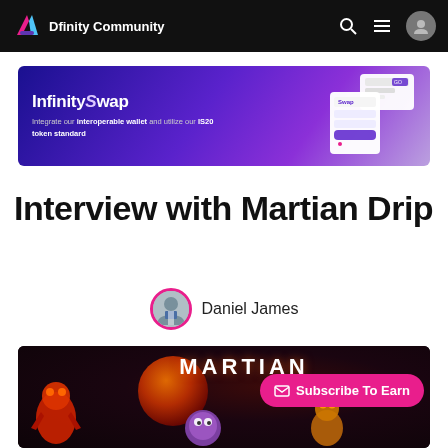Dfinity Community
[Figure (infographic): InfinitySwap banner ad with purple gradient background and phone mockup showing wallet interface. Text: 'InfinitySwap - Integrate our interoperable wallet and utilize our IS20 token standard']
Interview with Martian Drip
Daniel James
[Figure (photo): Martian Drip NFT project artwork showing sci-fi characters with MARTIAN text overlay on a dark space background with planets and alien creatures. Subscribe To Earn button overlay.]